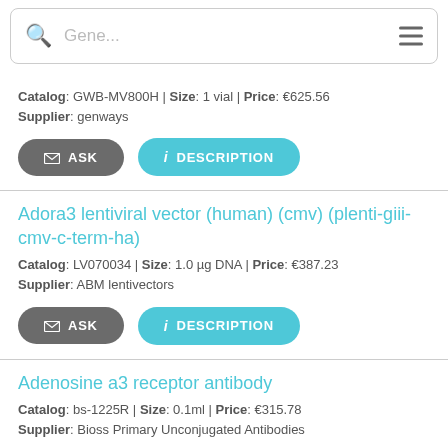Gene... [search bar with menu icon]
Catalog: GWB-MV800H | Size: 1 vial | Price: €625.56
Supplier: genways
ASK | DESCRIPTION
Adora3 lentiviral vector (human) (cmv) (plenti-giii-cmv-c-term-ha)
Catalog: LV070034 | Size: 1.0 µg DNA | Price: €387.23
Supplier: ABM lentivectors
ASK | DESCRIPTION
Adenosine a3 receptor antibody
Catalog: bs-1225R | Size: 0.1ml | Price: €315.78
Supplier: Bioss Primary Unconjugated Antibodies
ASK | DESCRIPTION
Antibody to or anti- adenosine a3 receptor